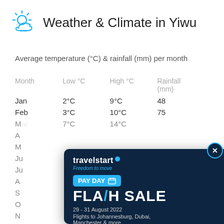Weather & Climate in Yiwu
Average temperature (°C) & rainfall (mm) per month
| Month | Low °C | High °C | Rainfall (mm) |
| --- | --- | --- | --- |
| Jan | 2°C | 9°C | 48 |
| Feb | 3°C | 10°C | 75 |
| Mar | 7°C | 14°C |  |
| Apr |  |  |  |
| May |  |  |  |
| Jun |  |  |  |
| Jul |  |  |  |
| Aug |  |  |  |
| Sep |  |  |  |
| Oct |  |  |  |
| Nov |  |  |  |
| Dec |  |  |  |
[Figure (infographic): Travelstart PAY DAY FLASH SALE advertisement overlay. Shows travelstart logo with 'Freedom to move' tagline. PAY DAY calendar icon button in cyan. FLASH SALE in large white bold text with cyan slash. 29 - 31 August 2022. Flights to Johannesburg, Dubai, Manchester & more. from ₦203,237. Book Now button. Photo of two people looking at tablet on right side.]